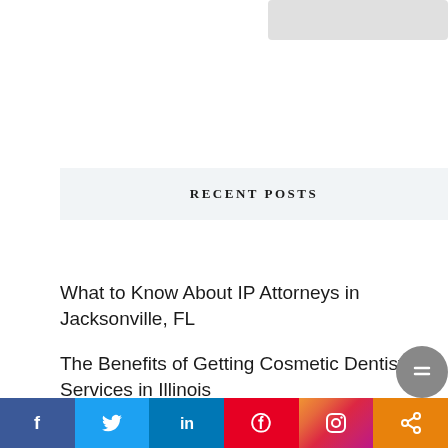RECENT POSTS
What to Know About IP Attorneys in Jacksonville, FL
The Benefits of Getting Cosmetic Dentistry Services in Illinois
Painting Companies in Mt. Prospect, IL: Finding the Best Local Painters
Biggest Perks of Gulf Shores Beach House Rentals
Where to Find Mortgage Loans in Champaign
f  Twitter  in  Pinterest  Instagram  Share